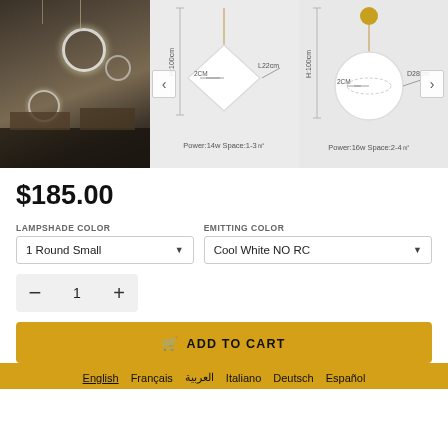[Figure (photo): Product image gallery showing pendant lights: left slot shows a dark room with hanging ring lights, middle slot shows a diamond-shaped pendant light diagram with H:100cm cord and L22cm dimensions, Power:14w Space:1-3m², right slot shows a round/circular pendant light diagram with H:100cm cord and D28cm dimension, Power:16w Space:2-4m². Left and right navigation arrows visible.]
$185.00
LAMPSHADE COLOR
EMITTING COLOR
1 Round Small
Cool White NO RC
1
ADD TO CART
English  Français  العربية  Italiano  Deutsch  Español